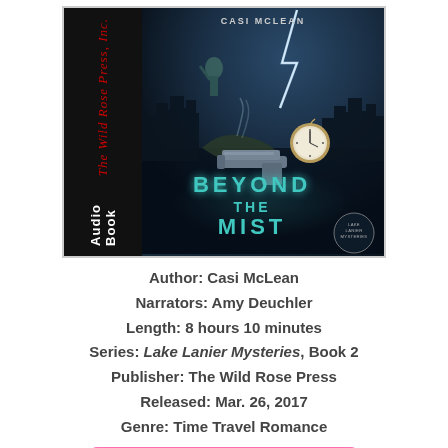[Figure (illustration): Audio book cover for 'Beyond the Mist' by Casi McLean. Left black spine reads 'The Wild Rose Press, Inc.' in red cursive and 'Audio Book' in white bold. Right cover shows dark atmospheric background with teal book title 'BEYOND THE MIST', a gun, pocket watch, and city skyline. Series badge reads 'Lake Lanier Mysteries'.]
Author: Casi McLean
Narrators: Amy Deuchler
Length: 8 hours 10 minutes
Series: Lake Lanier Mysteries, Book 2
Publisher: The Wild Rose Press
Released: Mar. 26, 2017
Genre: Time Travel Romance
+ Add to